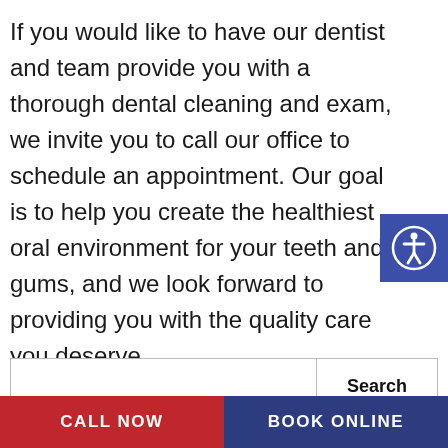If you would like to have our dentist and team provide you with a thorough dental cleaning and exam, we invite you to call our office to schedule an appointment. Our goal is to help you create the healthiest oral environment for your teeth and gums, and we look forward to providing you with the quality care you deserve.
[Figure (other): Blue square accessibility icon button with a white human figure and circle, indicating accessibility settings]
Search
Recent Posts
Floss Before Or After Brushing? The Real Answer
CALL NOW    BOOK ONLINE